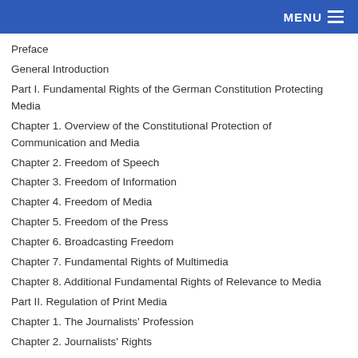MENU
Preface
General Introduction
Part I. Fundamental Rights of the German Constitution Protecting Media
Chapter 1. Overview of the Constitutional Protection of Communication and Media
Chapter 2. Freedom of Speech
Chapter 3. Freedom of Information
Chapter 4. Freedom of Media
Chapter 5. Freedom of the Press
Chapter 6. Broadcasting Freedom
Chapter 7. Fundamental Rights of Multimedia
Chapter 8. Additional Fundamental Rights of Relevance to Media
Part II. Regulation of Print Media
Chapter 1. The Journalists' Profession
Chapter 2. Journalists' Rights
Chapter 3. Journalists' Liability
Chapter 4. Right to Reply
Chapter 5. Other Civil Means of Media Victims